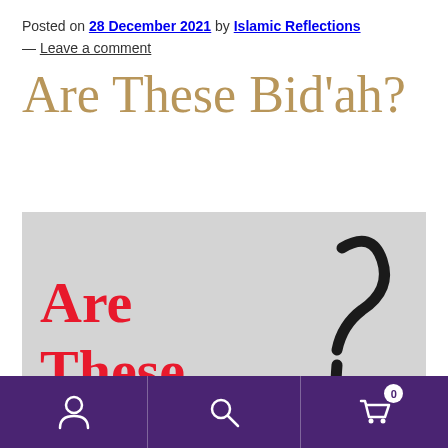Posted on 28 December 2021 by Islamic Reflections — Leave a comment
Are These Bid’ah?
[Figure (illustration): Grey background image with bold red text reading 'Are These' on the left and a large hand-drawn style black question mark on the right]
Navigation bar with user icon, search icon, and cart icon with badge showing 0